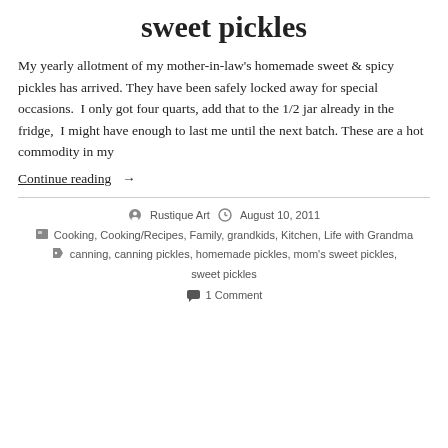sweet pickles
My yearly allotment of my mother-in-law's homemade sweet & spicy pickles has arrived. They have been safely locked away for special occasions.  I only got four quarts, add that to the 1/2 jar already in the fridge,  I might have enough to last me until the next batch. These are a hot commodity in my
Continue reading  →
Rustique Art   August 10, 2011   Cooking, Cooking/Recipes, Family, grandkids, Kitchen, Life with Grandma   canning, canning pickles, homemade pickles, mom's sweet pickles, sweet pickles   1 Comment